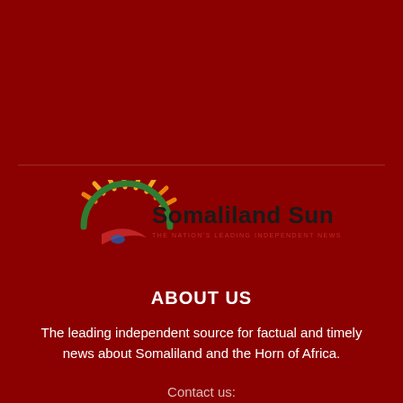[Figure (logo): Somaliland Sun logo — stylized sun with yellow/orange rays above a green arc, with a red/green/white flag element below, and text 'Somaliland Sun' in bold black with tagline 'THE NATION'S LEADING INDEPENDENT NEWS SOURCE' in red below]
ABOUT US
The leading independent source for factual and timely news about Somaliland and the Horn of Africa.
Contact us: